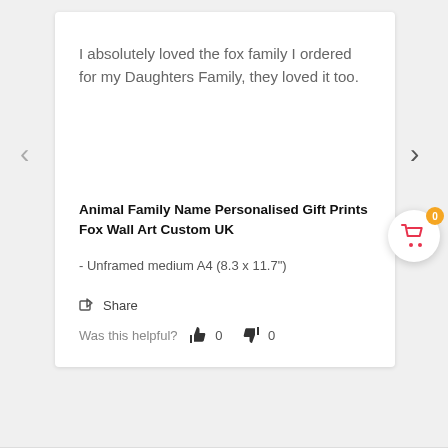I absolutely loved the fox family I ordered for my Daughters Family, they loved it too.
Animal Family Name Personalised Gift Prints Fox Wall Art Custom UK
- Unframed medium A4 (8.3 x 11.7")
Share
Was this helpful?  0  0